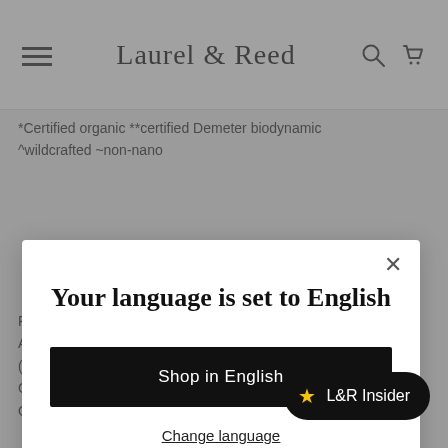Laurel & Reed
*Certified organic **certified Demeter biodynamic ^wildcrafted ~non-nano
Your language is set to English
Shop in English
Change language
FLOWER EXTRACT** Kangaroo Valley Australia/Pakistan, HIPPOPHAE RHAMNOIDS (SEABUCKTHORN) FRUIT + SEED OIL* Germany, RUBUS IDAEUS (RASPBERRY) OIL* Chile, VACCINIUM CORYMBOSUM (BLUEBERRY) SEED
L&R Insider